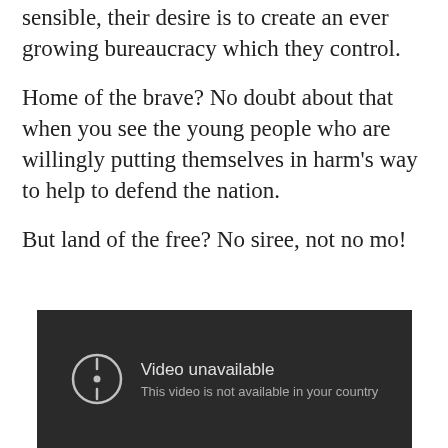sensible, their desire is to create an ever growing bureaucracy which they control.
Home of the brave? No doubt about that when you see the young people who are willingly putting themselves in harm’s way to help to defend the nation.
But land of the free? No siree, not no mo!
[Figure (screenshot): Embedded video player showing error message: 'Video unavailable. This video is not available in your country.']